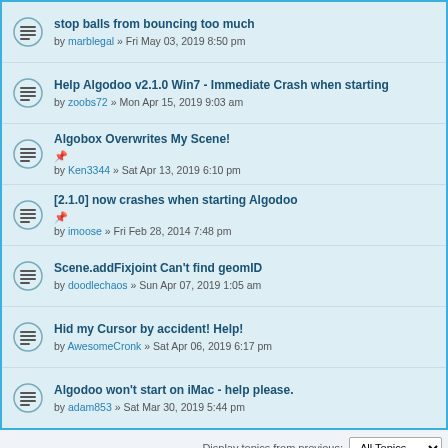stop balls from bouncing too much — by marblegal » Fri May 03, 2019 8:50 pm
Help Algodoo v2.1.0 Win7 - Immediate Crash when starting — by zoobs72 » Mon Apr 15, 2019 9:03 am
Algobox Overwrites My Scene! — by Ken3344 » Sat Apr 13, 2019 6:10 pm
[2.1.0] now crashes when starting Algodoo — by imoose » Fri Feb 28, 2014 7:48 pm
Scene.addFixjoint Can't find geomID — by doodlechaos » Sun Apr 07, 2019 1:05 am
Hid my Cursor by accident! Help! — by AwesomeCronk » Sat Apr 06, 2019 6:17 pm
Algodoo won't start on iMac - help please. — by adam853 » Sat Mar 30, 2019 5:44 pm
Display topics from previous: All Topics
NEWTOPIC *